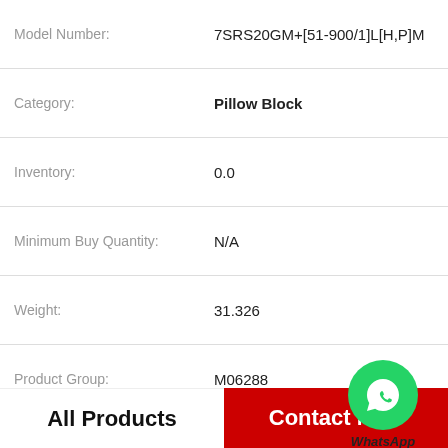| Field | Value |
| --- | --- |
| Model Number: | 7SRS20GM+[51-900/1]L[H,P]M |
| Category: | Pillow Block |
| Inventory: | 0.0 |
| Minimum Buy Quantity: | N/A |
| Weight: | 31.326 |
| Product Group: | M06288 |
| Number of Mounting Holes: | 2 |
| Mounting Method: | Concentric Collar |
| Housing Style: | 2 Bolt Pillow Block |
| PDF | 7SRS20GM+[51-900/1]L[H,P]M |
[Figure (logo): WhatsApp Online green circle icon with phone handset, labeled WhatsApp Online]
All Products
Contact Now